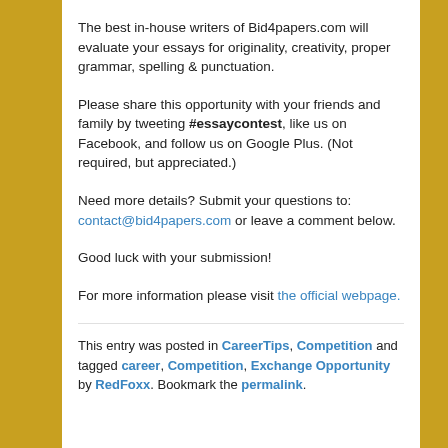The best in-house writers of Bid4papers.com will evaluate your essays for originality, creativity, proper grammar, spelling & punctuation.
Please share this opportunity with your friends and family by tweeting #essaycontest, like us on Facebook, and follow us on Google Plus. (Not required, but appreciated.)
Need more details? Submit your questions to: contact@bid4papers.com or leave a comment below.
Good luck with your submission!
For more information please visit the official webpage.
This entry was posted in CareerTips, Competition and tagged career, Competition, Exchange Opportunity by RedFoxx. Bookmark the permalink.